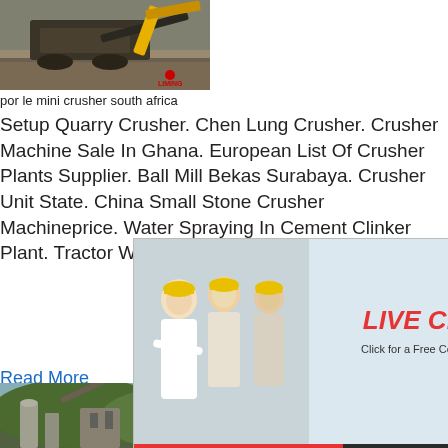[Figure (photo): Mining/quarry crusher machinery with yellow equipment and LIMING logo]
por le mini crusher south africa
Setup Quarry Crusher. Chen Lung Crusher. Crusher Machine Sale In Ghana. European List Of Crusher Plants Supplier. Ball Mill Bekas Surabaya. Crusher Unit State. China Small Stone Crusher Machineprice. Water Spraying In Cement Clinker Plant. Tractor W... Batuan. Africa
Read More
[Figure (screenshot): Live chat popup overlay with workers in hard hats, LIVE CHAT title, Chat now and Chat later buttons]
[Figure (photo): Industrial cement/mining plant with conveyor belts and silos against green hills]
[Figure (screenshot): Right sidebar with jaw crusher image, hour online text, Click me to chat>> button, Enquiry section, limingjlmofen text]
jaw rock breaking machine【iron ore vibrating scre... Since its establishment in 1987, we have fo... and manufacturing of large-scale equipmen...